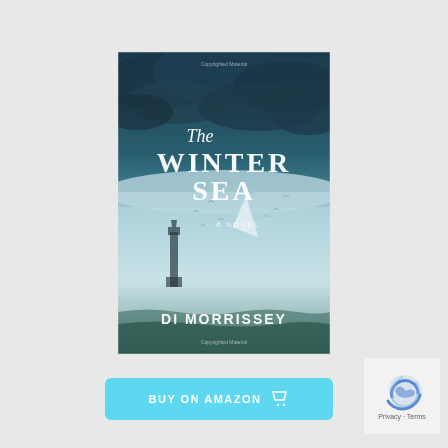[Figure (illustration): Book cover of 'The Winter Sea' by Di Morrissey. A novel. Cover art shows a dramatic stormy ocean scene with dark teal/blue storm clouds above, a misty pale blue-grey seascape below, a lighthouse silhouette in the lower left, seagulls scattered in the mist, and a partial white sail shape. Title 'The Winter Sea' in large white stylized text, 'A Novel' in small text below center, 'DI MORRISSEY' in white capitals at the bottom. 'Copyrighted Material' watermark at top and bottom.]
BUY ON AMAZON